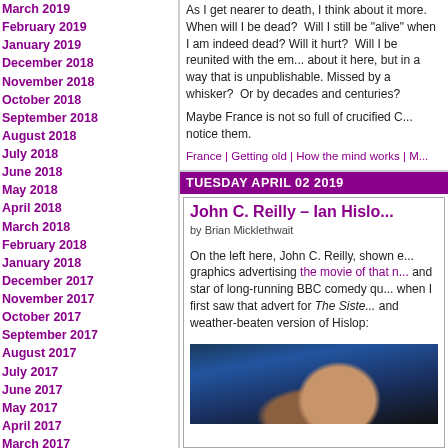March 2019
February 2019
January 2019
December 2018
November 2018
October 2018
September 2018
August 2018
July 2018
June 2018
May 2018
April 2018
March 2018
February 2018
January 2018
December 2017
November 2017
October 2017
September 2017
August 2017
July 2017
June 2017
May 2017
April 2017
March 2017
February 2017
January 2017
December 2016
November 2016
October 2016
September 2016
As I get nearer to death, I think about it more. When will I be dead? Will I still be "alive" when I am indeed dead? Will it hurt? Will I be reunited with the em... about it here, but in a way that is unpublishable. Missed by a whisker? Or by decades and centuries?
Maybe France is not so full of crucified Cs... notice them.
France | Getting old | How the mind works | M...
TUESDAY APRIL 02 2019
John C. Reilly – Ian Hislo...
by Brian Micklethwait
On the left here, John C. Reilly, shown e... graphics advertising the movie of that n... and star of long-running BBC comedy qu... when I first saw that advert for The Siste... and weather-beaten version of Hislop:
[Figure (photo): Close-up photo of a weathered face with a blue hat/cap, dark background]